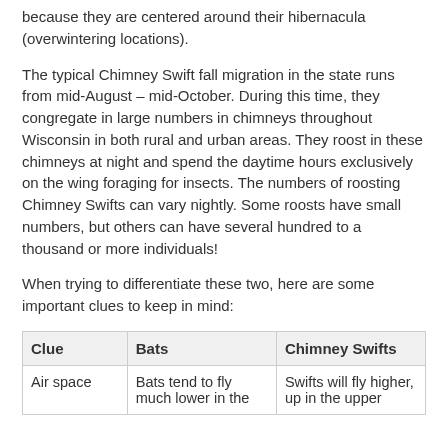because they are centered around their hibernacula (overwintering locations).
The typical Chimney Swift fall migration in the state runs from mid-August – mid-October. During this time, they congregate in large numbers in chimneys throughout Wisconsin in both rural and urban areas. They roost in these chimneys at night and spend the daytime hours exclusively on the wing foraging for insects. The numbers of roosting Chimney Swifts can vary nightly. Some roosts have small numbers, but others can have several hundred to a thousand or more individuals!
When trying to differentiate these two, here are some important clues to keep in mind:
| Clue | Bats | Chimney Swifts |
| --- | --- | --- |
| Air space | Bats tend to fly much lower in the | Swifts will fly higher, up in the upper |